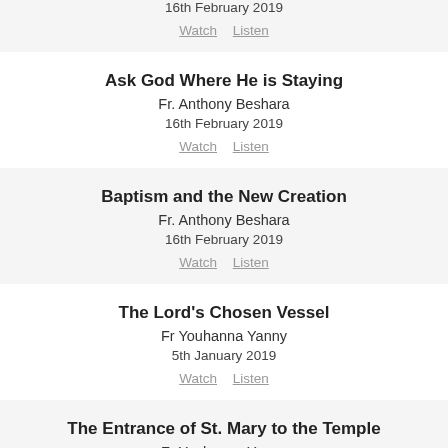16th February 2019
Watch  Listen
Ask God Where He is Staying
Fr. Anthony Beshara
16th February 2019
Watch  Listen
Baptism and the New Creation
Fr. Anthony Beshara
16th February 2019
Watch  Listen
The Lord's Chosen Vessel
Fr Youhanna Yanny
5th January 2019
Watch  Listen
The Entrance of St. Mary to the Temple
Fr Youhanna Yanny
5th January 2019